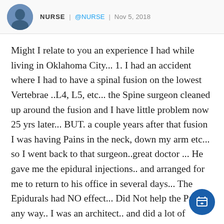NURSE | @NURSE | Nov 5, 2018
Might I relate to you an experience I had while living in Oklahoma City... 1. I had an accident where I had to have a spinal fusion on the lowest Vertebrae ..L4, L5, etc... the Spine surgeon cleaned up around the fusion and I have little problem now 25 yrs later... BUT. a couple years after that fusion I was having Pains in the neck, down my arm etc... so I went back to that surgeon..great doctor ... He gave me the epidural injections.. and arranged for me to return to his office in several days... The Epidurals had NO effect... Did Not help the Pain in any way.. I was an architect.. and did a lot of